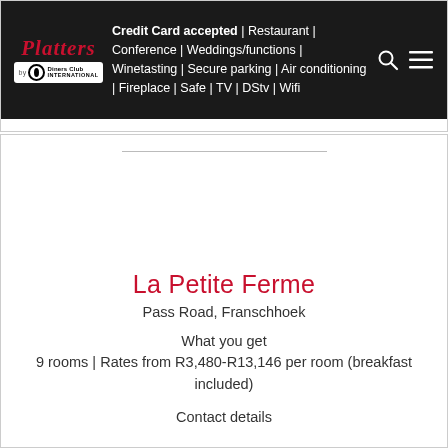Credit Card accepted | Restaurant | Conference | Weddings/functions | Winetasting | Secure parking | Air conditioning | Fireplace | Safe | TV | DStv | Wifi
[Figure (logo): Platters logo with Diners Club International badge]
La Petite Ferme
Pass Road, Franschhoek
What you get
9 rooms | Rates from R3,480-R13,146 per room (breakfast included)
Contact details